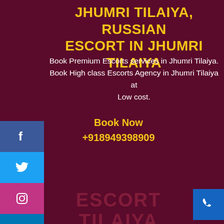JHUMRI TILAIYA, RUSSIAN ESCORT IN JHUMRI TILAIYA
Book Premium Escorts services in Jhumri Tilaiya. Book High class Escorts Agency in Jhumri Tilaiya at Low cost.
Book Now
+918949398909
ESCORT SERVICES IN JHUMRI TILAIYA, CALL GIRLS IN JHUMRI TILAIYA
Ananyaa singh
Anamika Pandey